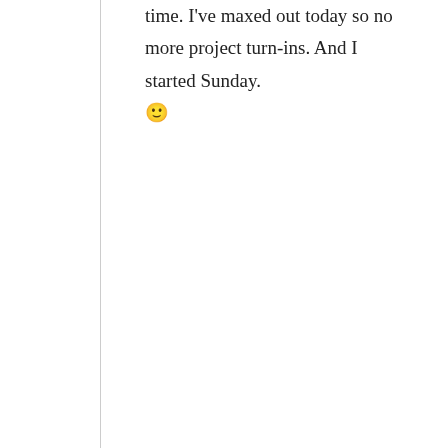time. I’ve maxed out today so no more project turn-ins. And I started Sunday. 🙂
Loading...
Alissa | August 20, 2015 at 3:05 pm | Reply
Privacy & Cookies: This site uses cookies. By continuing to use this website, you agree to their use. To find out more, including how to control cookies, see here: Cookie Policy
Close and accept
which I